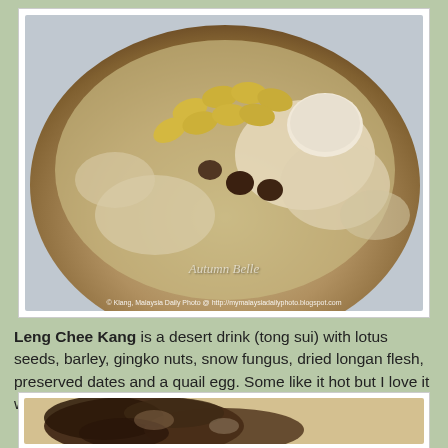[Figure (photo): A bowl of Leng Chee Kang dessert drink showing lotus seeds (yellow oval slices), snow fungus, dried longan, preserved dates (dark round pieces), and a quail egg in a clear sweet soup. Watermark reads 'Autumn Belle'. Photo credit: Klang, Malaysia Daily Photo @ http://mymalaysiadailyphoto.blogspot.com]
Leng Chee Kang is a desert drink (tong sui) with lotus seeds, barley, gingko nuts, snow fungus, dried longan flesh, preserved dates and a quail egg. Some like it hot but I love it with ice cubes.
[Figure (photo): Partial view of another dark-colored food dish, appears to show dark mushrooms or similar ingredients on a light surface.]